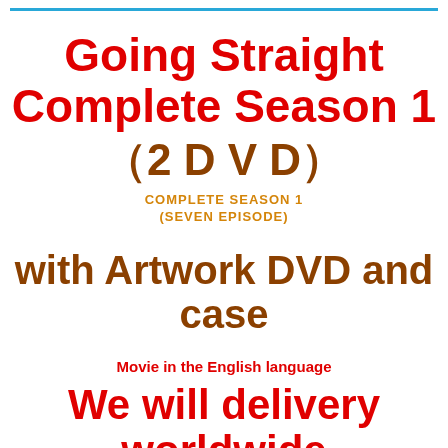Going Straight Complete Season 1
（2 D V D）
COMPLETE SEASON 1
(SEVEN EPISODE)
with Artwork DVD and case
Movie in the English language
We will delivery worldwide